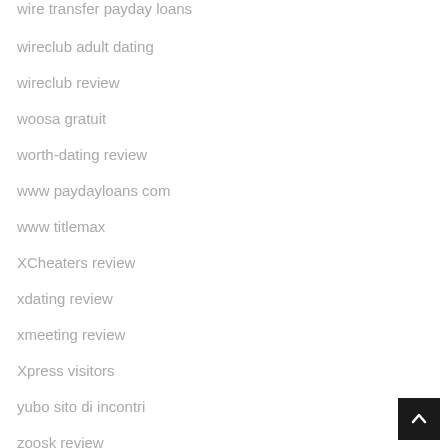wire transfer payday loans
wireclub adult dating
wireclub review
woosa gratuit
worth-dating review
www paydayloans com
www titlemax
XCheaters review
xdating review
xmeeting review
Xpress visitors
yubo sito di incontri
zoosk review